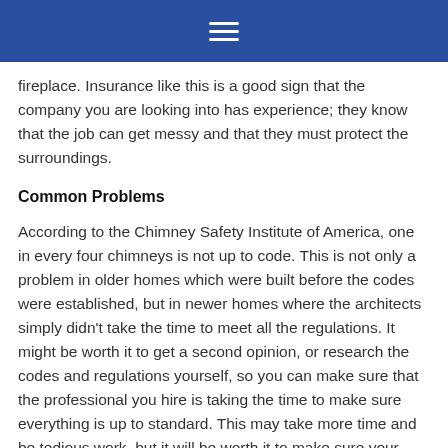[hamburger menu icon]
fireplace. Insurance like this is a good sign that the company you are looking into has experience; they know that the job can get messy and that they must protect the surroundings.
Common Problems
According to the Chimney Safety Institute of America, one in every four chimneys is not up to code. This is not only a problem in older homes which were built before the codes were established, but in newer homes where the architects simply didn't take the time to meet all the regulations. It might be worth it to get a second opinion, or research the codes and regulations yourself, so you can make sure that the professional you hire is taking the time to make sure everything is up to standard. This may take more time and be tedious work, but it will be worth it to make sure your Mercer home is safe for your family.